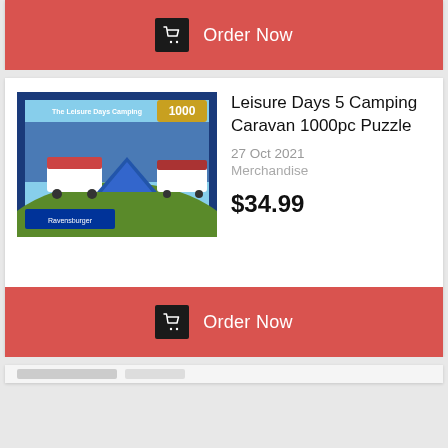[Figure (screenshot): Order Now button with shopping cart icon on red background (top, partial card)]
[Figure (photo): Leisure Days 5 Camping Caravan 1000pc Puzzle box art showing camping scene]
Leisure Days 5 Camping Caravan 1000pc Puzzle
27 Oct 2021
Merchandise
$34.99
[Figure (screenshot): Order Now button with shopping cart icon on red background (bottom card)]
[Figure (screenshot): Partial product card at bottom edge]